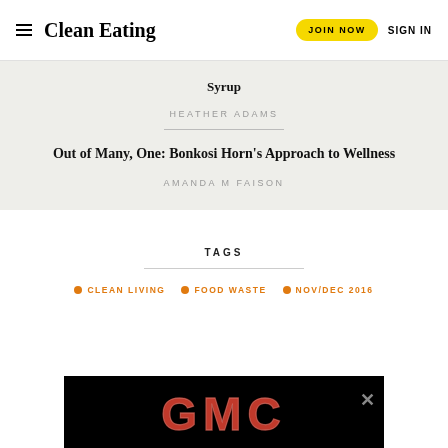Clean Eating | JOIN NOW | SIGN IN
Syrup
HEATHER ADAMS
Out of Many, One: Bonkosi Horn's Approach to Wellness
AMANDA M FAISON
TAGS
CLEAN LIVING
FOOD WASTE
NOV/DEC 2016
[Figure (illustration): GMC advertisement banner with red metallic text on black background with a close button]